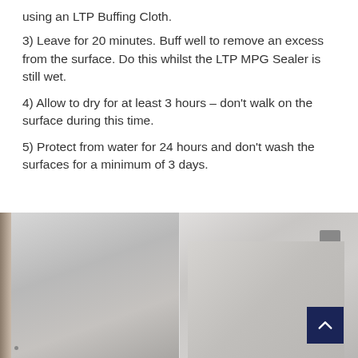using an LTP Buffing Cloth.
3) Leave for 20 minutes. Buff well to remove an excess from the surface. Do this whilst the LTP MPG Sealer is still wet.
4) Allow to dry for at least 3 hours – don't walk on the surface during this time.
5) Protect from water for 24 hours and don't wash the surfaces for a minimum of 3 days.
[Figure (photo): Two side-by-side interior photos showing tiled or stone surfaces — left side shows a wall/door area with wooden trim, right side shows a staircase with wall-mounted light fixtures.]